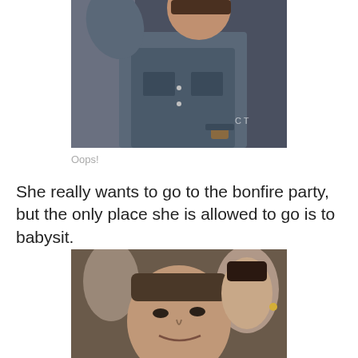[Figure (photo): Person in denim jacket, waving or gesturing, partial view cropped from top]
Oops!
She really wants to go to the bonfire party, but the only place she is allowed to go is to babysit.
[Figure (photo): Man smiling/smirking at an event, with a woman visible behind him]